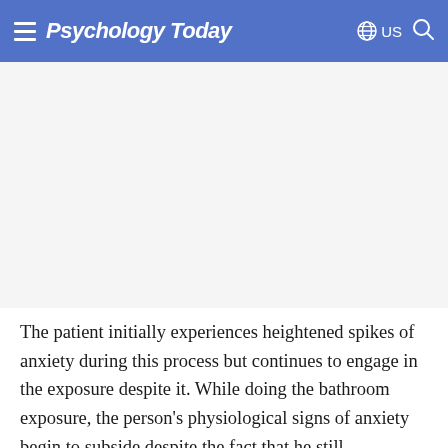Psychology Today — US
[Figure (other): Advertisement or image placeholder area (blank white/light gray region)]
The patient initially experiences heightened spikes of anxiety during this process but continues to engage in the exposure despite it. While doing the bathroom exposure, the person's physiological signs of anxiety begin to subside despite the fact that he still cognitively associates the bathroom with "dirty" and with "disease." After doing this